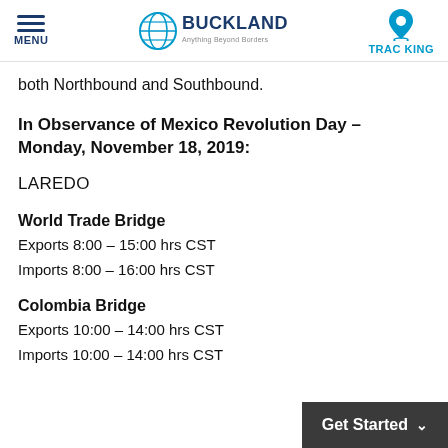MENU | BUCKLAND - Anything Beyond Borders | TRACKING
both Northbound and Southbound.
In Observance of Mexico Revolution Day – Monday, November 18, 2019:
LAREDO
World Trade Bridge
Exports 8:00 – 15:00 hrs CST
Imports 8:00 – 16:00 hrs CST
Colombia Bridge
Exports 10:00 – 14:00 hrs CST
Imports 10:00 – 14:00 hrs CST